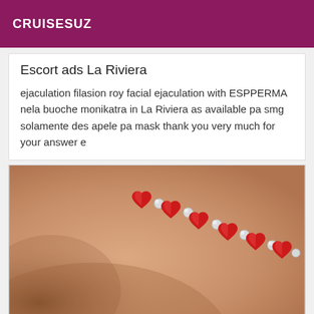CRUISESUZ
Escort ads La Riviera
ejaculation filasion roy facial ejaculation with ESPPERMA nela buoche monikatra in La Riviera as available pa smg solamente des apele pa mask thank you very much for your answer e
[Figure (photo): Close-up photograph of human skin with a diagonal line of red heart-shaped and pearl/bubble decorative stickers or emojis arranged across the skin surface.]